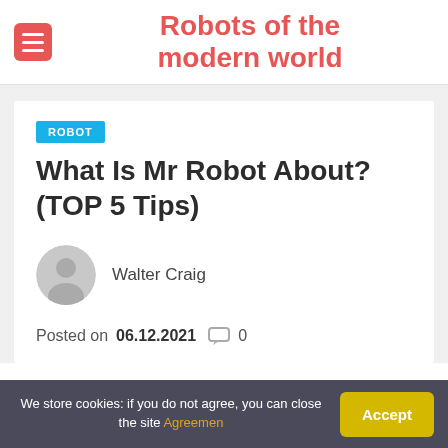Robots of the modern world
ROBOT
What Is Mr Robot About? (TOP 5 Tips)
Walter Craig
Posted on 06.12.2021  0
We store cookies: if you do not agree, you can close the site Agreemen